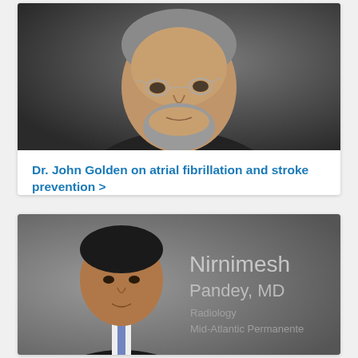[Figure (photo): Portrait photo of Dr. John Golden, an older man with grey hair, beard, and glasses, wearing a dark suit, against a dark background.]
Dr. John Golden on atrial fibrillation and stroke prevention >
[Figure (photo): Portrait photo of Nirnimesh Pandey, MD, a younger man in a dark suit with a striped tie, against a grey background. Text overlay reads: Nirnimesh Pandey, MD / Radiology / Mid-Atlantic Permanente]